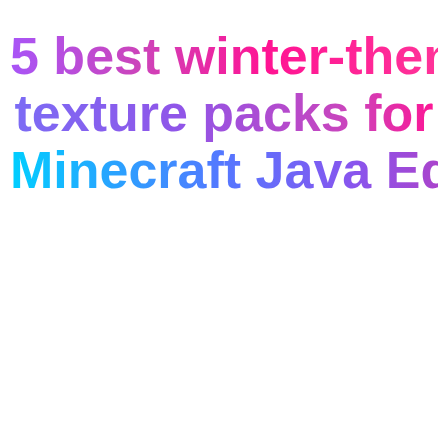5 best winter-themed texture packs for Minecraft Java Edition